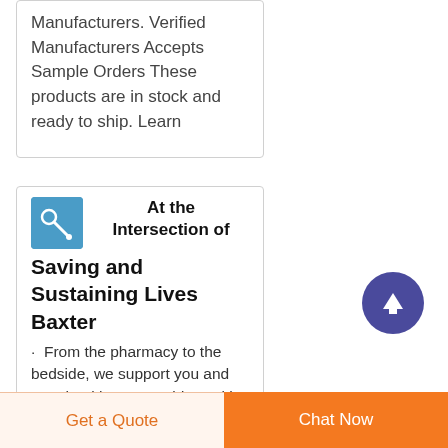Manufacturers. Verified Manufacturers Accepts Sample Orders These products are in stock and ready to ship. Learn
[Figure (illustration): Blue square thumbnail image for Baxter article]
At the Intersection of Saving and Sustaining Lives Baxter
From the pharmacy to the bedside, we support you and your healthcare providers with IV medications and infusion technologies designed with safety in mind. Nutritional
[Figure (other): Scroll-to-top circular button with upward arrow, purple background]
Get a Quote
Chat Now